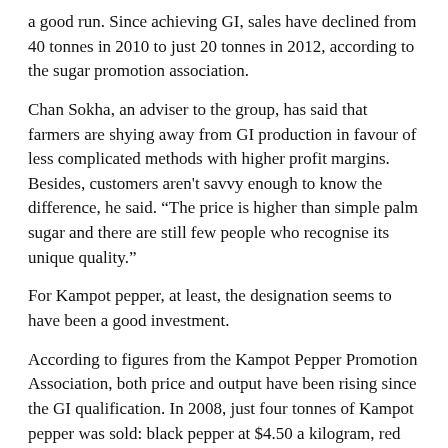a good run. Since achieving GI, sales have declined from 40 tonnes in 2010 to just 20 tonnes in 2012, according to the sugar promotion association.
Chan Sokha, an adviser to the group, has said that farmers are shying away from GI production in favour of less complicated methods with higher profit margins. Besides, customers aren't savvy enough to know the difference, he said. "The price is higher than simple palm sugar and there are still few people who recognise its unique quality."
For Kampot pepper, at least, the designation seems to have been a good investment.
According to figures from the Kampot Pepper Promotion Association, both price and output have been rising since the GI qualification. In 2008, just four tonnes of Kampot pepper was sold: black pepper at $4.50 a kilogram, red pepper at $8 per kilogram, and white pepper at $10 per kilogram. In 2013, 21 tonnes have been sold at $11 a kilo for black, $15 for red and $18 for white.
But, said Nguon Lay, president of the Kampot Pepper Promotion Association, there is still not enough production to